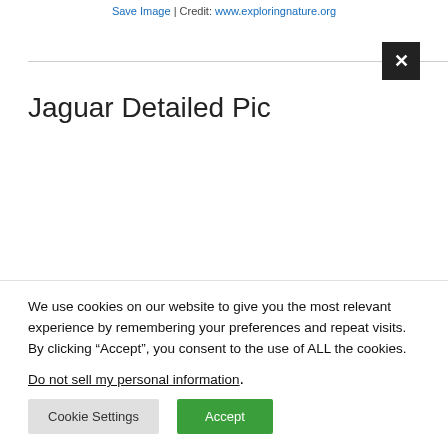Save Image | Credit: www.exploringnature.org
Jaguar Detailed Pic
[Figure (illustration): Black and white illustration of a jaguar showing spotted fur pattern, partially cropped, showing top of head and body]
We use cookies on our website to give you the most relevant experience by remembering your preferences and repeat visits. By clicking “Accept”, you consent to the use of ALL the cookies.
Do not sell my personal information.